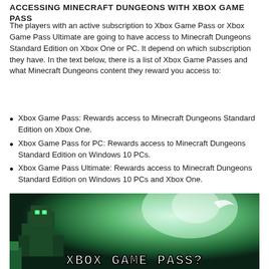ACCESSING MINECRAFT DUNGEONS WITH XBOX GAME PASS
The players with an active subscription to Xbox Game Pass or Xbox Game Pass Ultimate are going to have access to Minecraft Dungeons Standard Edition on Xbox One or PC. It depend on which subscription they have. In the text below, there is a list of Xbox Game Passes and what Minecraft Dungeons content they reward you access to:
Xbox Game Pass: Rewards access to Minecraft Dungeons Standard Edition on Xbox One.
Xbox Game Pass for PC: Rewards access to Minecraft Dungeons Standard Edition on Windows 10 PCs.
Xbox Game Pass Ultimate: Rewards access to Minecraft Dungeons Standard Edition on Windows 10 PCs and Xbox One.
[Figure (photo): Minecraft Dungeons Xbox Game Pass promotional image showing a blocky green monster character with glowing eyes against a bright green and white background. Text at the bottom reads 'XBOX GAME PASS?']